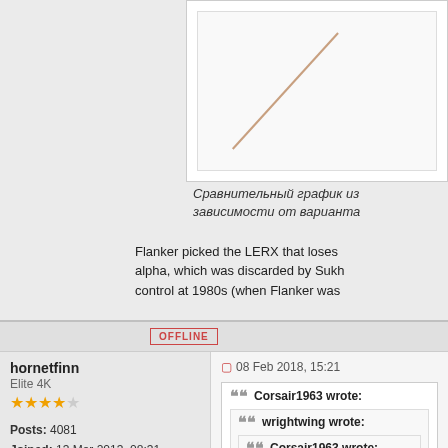[Figure (continuous-plot): Partial view of a graph showing a diagonal line on white background, cropped at top-right of page]
Сравнительный график из зависимости от варианта
Flanker picked the LERX that loses alpha, which was discarded by Sukh control at 1980s (when Flanker was
OFFLINE
hornetfinn
Elite 4K
★★★★
Posts: 4081
Joined: 13 Mar 2013, 08:31
Location: Finland
08 Feb 2018, 15:21
Corsair1963 wrote:
wrightwing wrote:
Corsair1963 wrote: